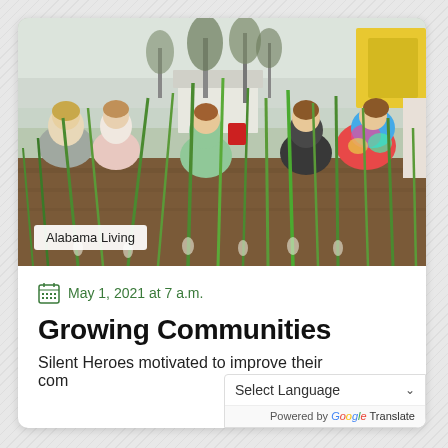[Figure (photo): Group of teenagers and young adults crouching in a garden, tending to green onion plants growing in soil, with trees and a white house in the background. One person wears a tie-dye shirt.]
Alabama Living
May 1, 2021 at 7 a.m.
Growing Communities
Silent Heroes motivated to improve their communities